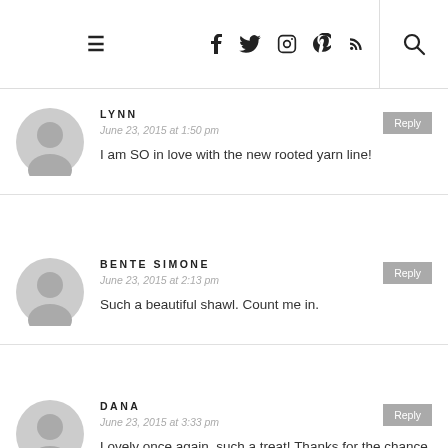≡  f  Twitter  Instagram  Pinterest  RSS  🔍
LYNN
June 23, 2015 at 1:50 pm
I am SO in love with the new rooted yarn line!
BENTE SIMONE
June 23, 2015 at 2:13 pm
Such a beautiful shawl. Count me in.
DANA
June 23, 2015 at 3:33 pm
Lovely once again, such a treat! Thanks for the chance to one. 🙂